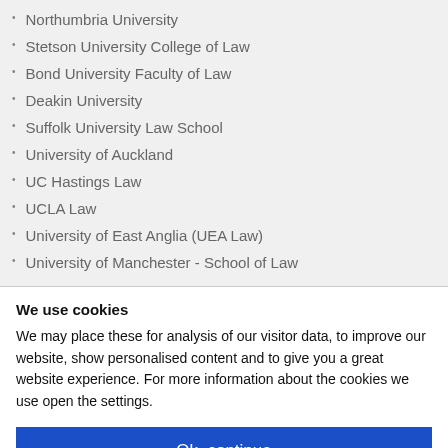Northumbria University
Stetson University College of Law
Bond University Faculty of Law
Deakin University
Suffolk University Law School
University of Auckland
UC Hastings Law
UCLA Law
University of East Anglia (UEA Law)
University of Manchester - School of Law
We use cookies
We may place these for analysis of our visitor data, to improve our website, show personalised content and to give you a great website experience. For more information about the cookies we use open the settings.
Ok, continue
Deny
No, adjust